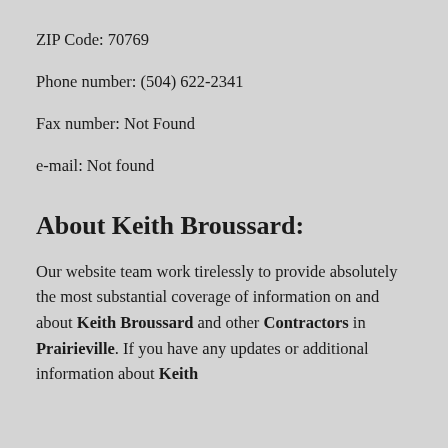ZIP Code: 70769
Phone number: (504) 622-2341
Fax number: Not Found
e-mail: Not found
About Keith Broussard:
Our website team work tirelessly to provide absolutely the most substantial coverage of information on and about Keith Broussard and other Contractors in Prairieville. If you have any updates or additional information about Keith